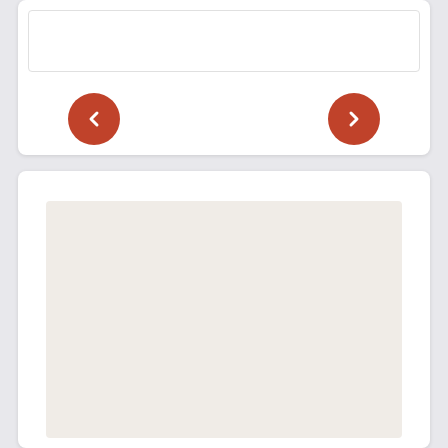[Figure (screenshot): Top white card with inner bordered box and two navigation arrow buttons (left arrow and right arrow) on an orange-red circular background]
<!--
Source: https://bugs.chromium.org/p/project-zero/issues/detail?id=1355

There is a use-after-free security vulnerability in WebKit. The vulnerability was confirmed on ASan build of WebKit nightly.

PoC: